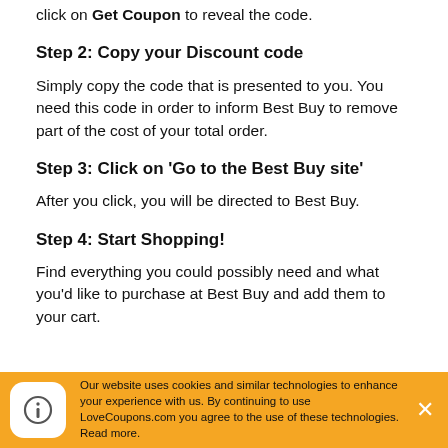click on Get Coupon to reveal the code.
Step 2: Copy your Discount code
Simply copy the code that is presented to you. You need this code in order to inform Best Buy to remove part of the cost of your total order.
Step 3: Click on ‘Go to the Best Buy site’
After you click, you will be directed to Best Buy.
Step 4: Start Shopping!
Find everything you could possibly need and what you’d like to purchase at Best Buy and add them to your cart.
Our website uses cookies and similar technologies to enhance your experience with us. By continuing to use LoveCoupons.com you agree to the use of these technologies. Read more.